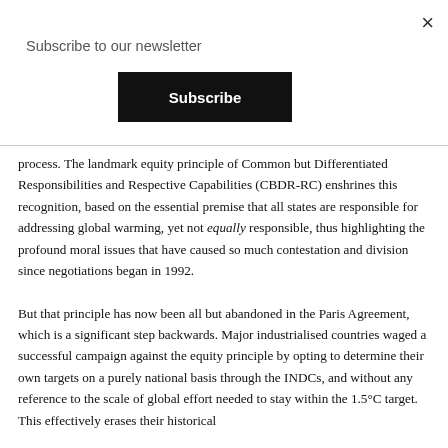Subscribe to our newsletter
Subscribe
process. The landmark equity principle of Common but Differentiated Responsibilities and Respective Capabilities (CBDR-RC) enshrines this recognition, based on the essential premise that all states are responsible for addressing global warming, yet not equally responsible, thus highlighting the profound moral issues that have caused so much contestation and division since negotiations began in 1992.
But that principle has now been all but abandoned in the Paris Agreement, which is a significant step backwards. Major industrialised countries waged a successful campaign against the equity principle by opting to determine their own targets on a purely national basis through the INDCs, and without any reference to the scale of global effort needed to stay within the 1.5°C target. This effectively erases their historical